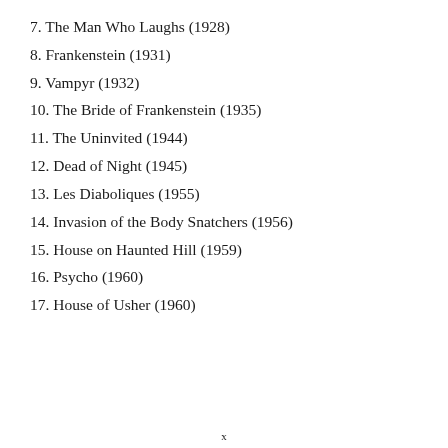7. The Man Who Laughs (1928)
8. Frankenstein (1931)
9. Vampyr (1932)
10. The Bride of Frankenstein (1935)
11. The Uninvited (1944)
12. Dead of Night (1945)
13. Les Diaboliques (1955)
14. Invasion of the Body Snatchers (1956)
15. House on Haunted Hill (1959)
16. Psycho (1960)
17. House of Usher (1960)
x